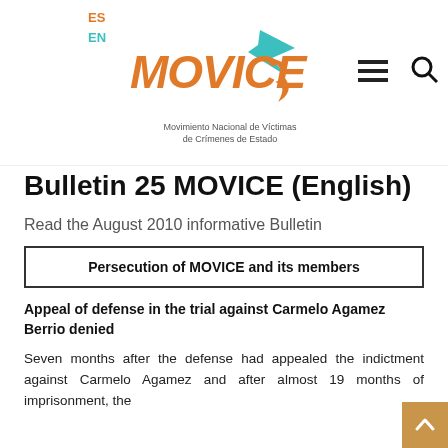ES EN MOVICE - Movimiento Nacional de Víctimas de Crímenes de Estado
Bulletin 25 MOVICE (English)
Read the August 2010 informative Bulletin
Persecution of MOVICE and its members
Appeal of defense in the trial against Carmelo Agamez Berrio denied
Seven months after the defense had appealed the indictment against Carmelo Agamez and after almost 19 months of imprisonment, the